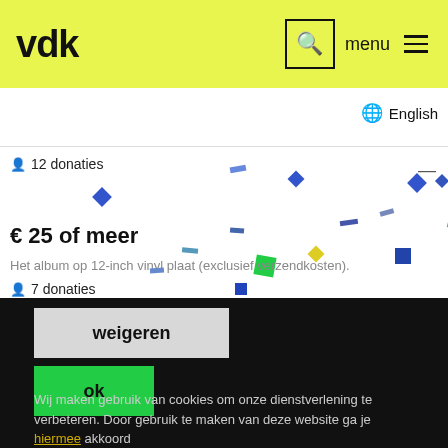vdk | search | menu
English
12 donaties
€ 25 of meer
Het album op 12-inch vinyl plaat (exclusief verzendkosten).
7 donaties
weigeren
ok
Wij maken gebruik van cookies om onze dienstverlening te verbeteren. Door gebruik te maken van deze website ga je hiermee akkoord